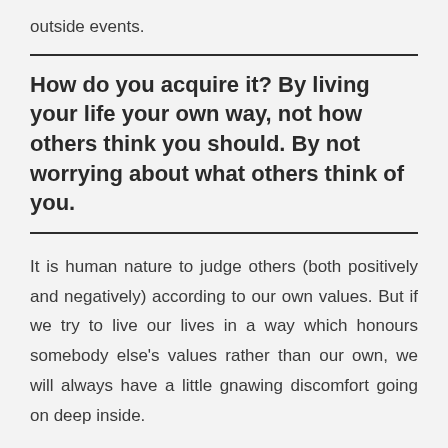outside events.
How do you acquire it? By living your life your own way, not how others think you should. By not worrying about what others think of you.
It is human nature to judge others (both positively and negatively) according to our own values. But if we try to live our lives in a way which honours somebody else's values rather than our own, we will always have a little gnawing discomfort going on deep inside.